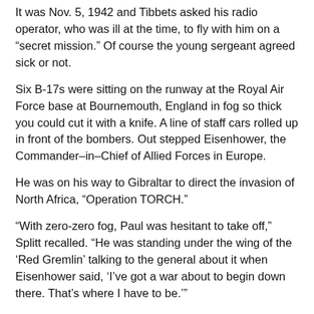It was Nov. 5, 1942 and Tibbets asked his radio operator, who was ill at the time, to fly with him on a “secret mission.” Of course the young sergeant agreed sick or not.
Six B-17s were sitting on the runway at the Royal Air Force base at Bournemouth, England in fog so thick you could cut it with a knife. A line of staff cars rolled up in front of the bombers. Out stepped Eisenhower, the Commander–in–Chief of Allied Forces in Europe.
He was on his way to Gibraltar to direct the invasion of North Africa, “Operation TORCH.”
“With zero-zero fog, Paul was hesitant to take off,” Splitt recalled. “He was standing under the wing of the ‘Red Gremlin’ talking to the general about it when Eisenhower said, ‘I’ve got a war about to begin down there. That’s where I have to be.’”
So the Commander-in-Chief and his staff boarded the B-17s and they flew off into the fog headed for Gibraltar. Once the bombers gained altitude the fog cleared and